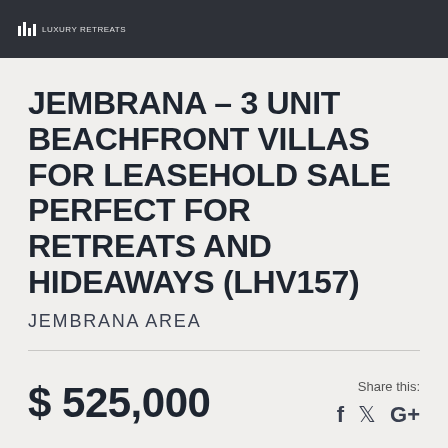JEMBRANA – 3 UNIT BEACHFRONT VILLAS FOR LEASEHOLD SALE PERFECT FOR RETREATS AND HIDEAWAYS (LHV157)
JEMBRANA AREA
$ 525,000
Share this: f ✓ G+